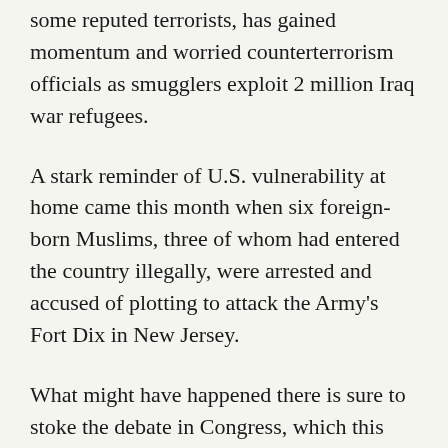some reputed terrorists, has gained momentum and worried counterterrorism officials as smugglers exploit 2 million Iraq war refugees.
A stark reminder of U.S. vulnerability at home came this month when six foreign-born Muslims, three of whom had entered the country illegally, were arrested and accused of plotting to attack the Army's Fort Dix in New Jersey.
What might have happened there is sure to stoke the debate in Congress, which this week will take up border security and immigration reform.
Politically, immigration can be a ferocious issue